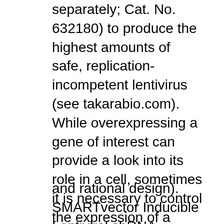separately; Cat. No. 632180) to produce the highest amounts of safe, replication-incompetent lentivirus (see takarabio.com). While overexpressing a gene of interest can provide a look into its role in a cell, sometimes it is necessary to control the expression of a gene. You may want to dictate the timing of the protein's expression or lower its expression level to adequately understand its function. This is particularly relevant when studying genes that may be toxic to your model organism or cell line.
and rational design). SMARTvector Inducible Lentiviral shRNA vectors utilize the Tet-On 3G bipartite induction